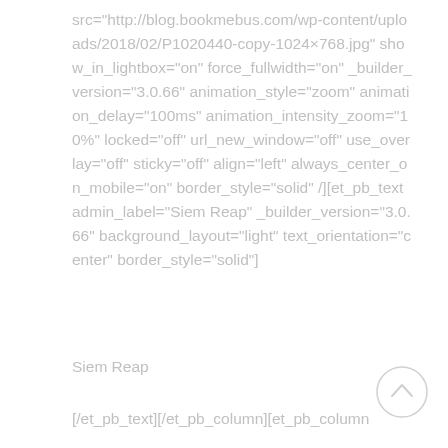src="http://blog.bookmebus.com/wp-content/uploads/2018/02/P1020440-copy-1024×768.jpg" show_in_lightbox="on" force_fullwidth="on" _builder_version="3.0.66" animation_style="zoom" animation_delay="100ms" animation_intensity_zoom="10%" locked="off" url_new_window="off" use_overlay="off" sticky="off" align="left" always_center_on_mobile="on" border_style="solid" /][et_pb_text admin_label="Siem Reap" _builder_version="3.0.66" background_layout="light" text_orientation="center" border_style="solid"]
Siem Reap
[/et_pb_text][/et_pb_column][et_pb_column